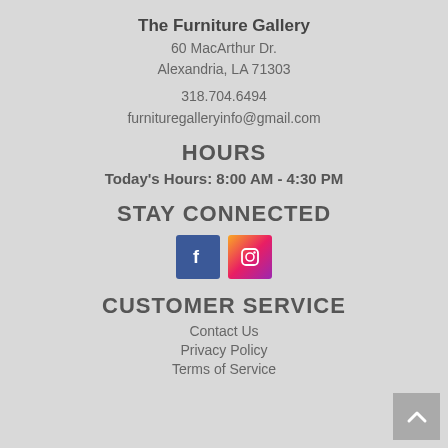The Furniture Gallery
60 MacArthur Dr.
Alexandria, LA 71303
318.704.6494
furnituregalleryinfo@gmail.com
HOURS
Today's Hours: 8:00 AM - 4:30 PM
STAY CONNECTED
[Figure (logo): Facebook and Instagram social media icons side by side]
CUSTOMER SERVICE
Contact Us
Privacy Policy
Terms of Service